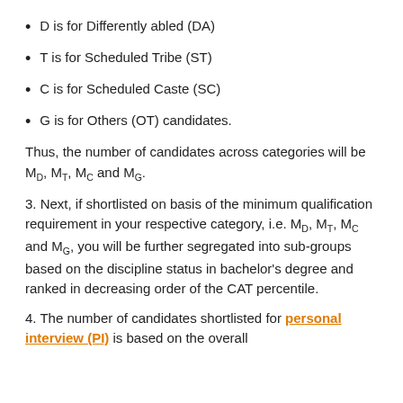D is for Differently abled (DA)
T is for Scheduled Tribe (ST)
C is for Scheduled Caste (SC)
G is for Others (OT) candidates.
Thus, the number of candidates across categories will be M_D, M_T, M_C and M_G.
3. Next, if shortlisted on basis of the minimum qualification requirement in your respective category, i.e. M_D, M_T, M_C and M_G, you will be further segregated into sub-groups based on the discipline status in bachelor's degree and ranked in decreasing order of the CAT percentile.
4. The number of candidates shortlisted for personal interview (PI) is based on the overall